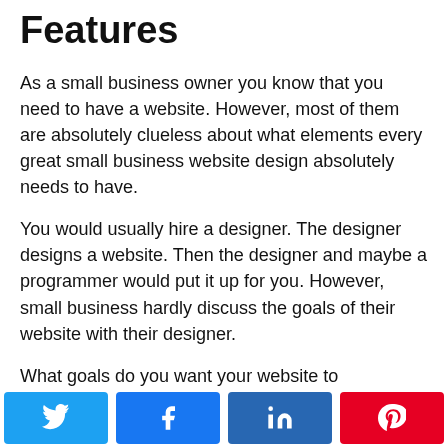Features
As a small business owner you know that you need to have a website. However, most of them are absolutely clueless about what elements every great small business website design absolutely needs to have.
You would usually hire a designer. The designer designs a website. Then the designer and maybe a programmer would put it up for you. However, small business hardly discuss the goals of their website with their designer.
What goals do you want your website to accomplish? Most likely, you would like to get more customers through the door. You
[Figure (infographic): Social sharing buttons row: Twitter (light blue), Facebook (blue), LinkedIn (dark blue), Pinterest (red), each with their respective icons in white.]